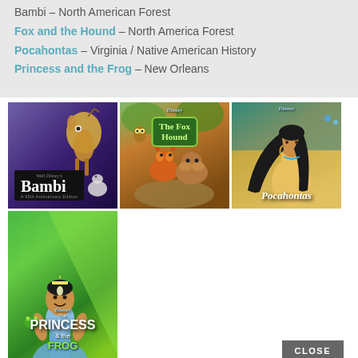Bambi – North American Forest
Fox and the Hound – North America Forest
Pocahontas – Virginia / Native American History
Princess and the Frog – New Orleans
[Figure (photo): Movie cover for Bambi - Disney Platinum Edition showing Bambi the deer]
[Figure (photo): Movie cover for The Fox and the Hound showing the fox and hound characters]
[Figure (photo): Movie cover for Pocahontas showing Pocahontas character]
[Figure (photo): Movie cover for The Princess and the Frog showing Tiana character]